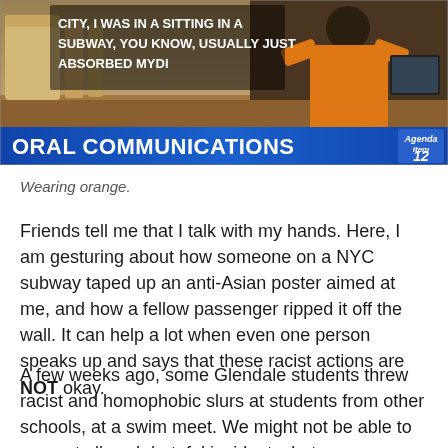[Figure (screenshot): TV screenshot showing a person in an orange shirt at a city meeting, with a lower-third chyron reading 'ORAL COMMUNICATIONS' and 'Agenda Item 12'. Overlay text reads: 'CITY, I WAS IN A SITTING IN A SUBWAY, YOU KNOW, USUALLY JUST ABSORBED MYDI']
Wearing orange.
Friends tell me that I talk with my hands. Here, I am gesturing about how someone on a NYC subway taped up an anti-Asian poster aimed at me, and how a fellow passenger ripped it off the wall. It can help a lot when even one person speaks up and says that these racist actions are NOT okay.
A few weeks ago, some Glendale students threw racist and homophobic slurs at students from other schools, at a swim meet. We might not be able to prevent all such hateful incidents, but we can come together as a community and say that this behavior is not acceptable. Even when the ugliness is not aimed at us directly, bystanders can always stand up and